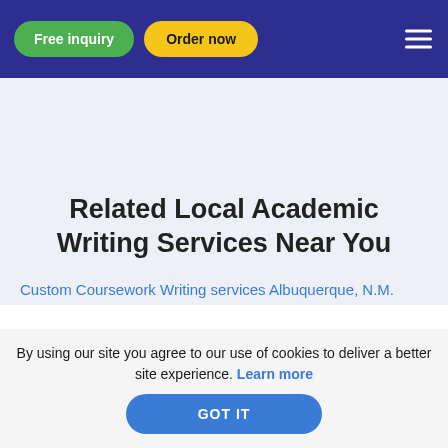Free inquiry | Order now
Related Local Academic Writing Services Near You
Custom Coursework Writing services Albuquerque, N.M.
By using our site you agree to our use of cookies to deliver a better site experience. Learn more
GOT IT